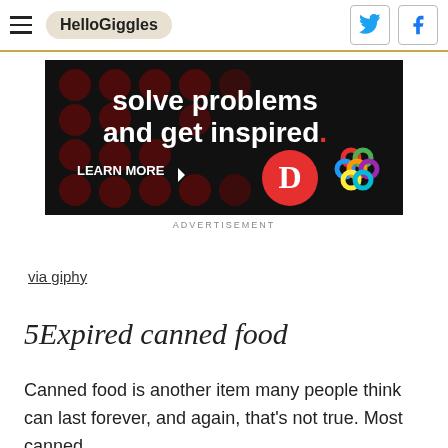HelloGiggles
[Figure (screenshot): Advertisement banner on black background with text 'solve problems and get inspired.' and 'LEARN MORE' with logos for Digg and a colorful Celtic knot pattern.]
ADVERTISEMENT
via giphy
5Expired canned food
Canned food is another item many people think can last forever, and again, that's not true. Most canned